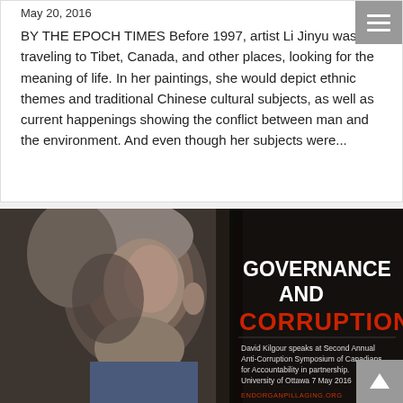May 20, 2016
BY THE EPOCH TIMES Before 1997, artist Li Jinyu was traveling to Tibet, Canada, and other places, looking for the meaning of life. In her paintings, she would depict ethnic themes and traditional Chinese cultural subjects, as well as current happenings showing the conflict between man and the environment. And even though her subjects were...
[Figure (photo): Black and white photo of David Kilgour (an older man with grey hair) speaking, overlaid with text: 'GOVERNANCE AND CORRUPTION' and caption 'David Kilgour speaks at Second Annual Anti-Corruption Symposium of Canadians for Accountability in partnership. University of Ottawa 7 May 2016' and website 'ENDORGANPILLAGING.ORG']